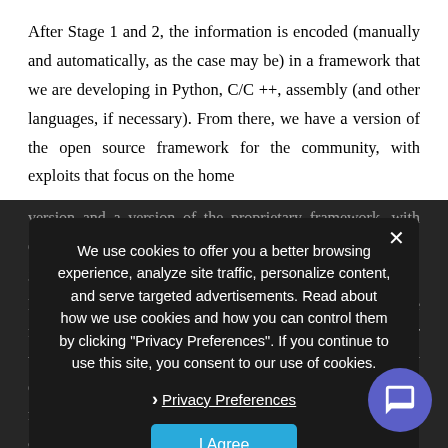After Stage 1 and 2, the information is encoded (manually and automatically, as the case may be) in a framework that we are developing in Python, C/C ++, assembly (and other languages, if necessary). From there, we have a version of the open source framework for the community, with exploits that focus on the home version and a version of the proprietary framework, with exploits focused on the corporate version (companies, governments, etc. For example, in the open source community version of the framework, there will be exploits for home routers for testing whether they are secure or not, unlike the proprietary corporate version where a company has a data center where malware uses a VMware vulnerability to exploit via exploits and gain access to a wide variety of virtual
[Figure (screenshot): Cookie consent modal overlay on dark background. Text reads: 'We use cookies to offer you a better browsing experience, analyze site traffic, personalize content, and serve targeted advertisements. Read about how we use cookies and how you can control them by clicking "Privacy Preferences". If you continue to use this site, you consent to our use of cookies.' With a 'Privacy Preferences' link and an 'I Agree' button. A purple chat bubble icon appears in the bottom right corner.]
[PT]: Why is your project interesting and innovative?